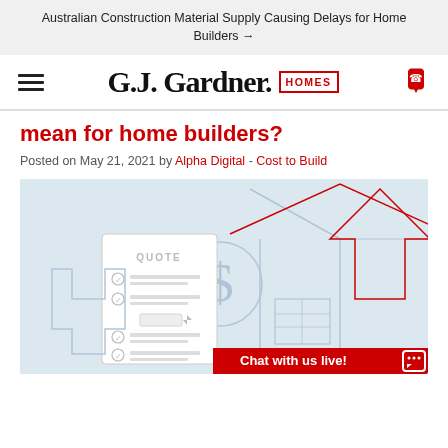Australian Construction Material Supply Causing Delays for Home Builders →
[Figure (logo): G.J. Gardner Homes logo with hamburger menu icon on left and phone icon on right]
mean for home builders?
Posted on May 21, 2021 by Alpha Digital - Cost to Build
[Figure (illustration): Illustration showing a quote/checklist document, a dollar sign in a circle with an upward arrow, and a house blueprint outline, on a light blue background. Red upward arrow indicates rising costs.]
Chat with us live!